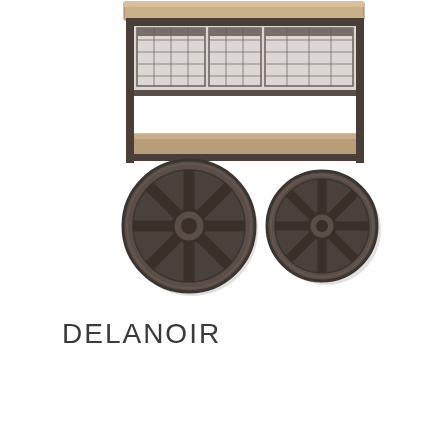[Figure (photo): Industrial-style trolley cart with wooden top and lower shelf, metal wire mesh baskets on top shelf, and large dark cast iron spoke wheels on each side.]
DELANOIR